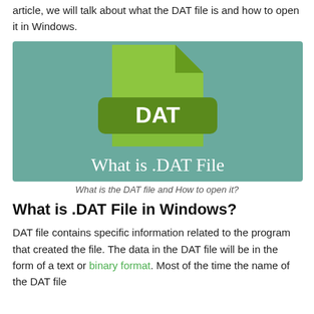article, we will talk about what the DAT file is and how to open it in Windows.
[Figure (illustration): Illustration of a green file icon with 'DAT' label and text 'What is .DAT File' on a teal background]
What is the DAT file and How to open it?
What is .DAT File in Windows?
DAT file contains specific information related to the program that created the file. The data in the DAT file will be in the form of a text or binary format. Most of the time the name of the DAT file